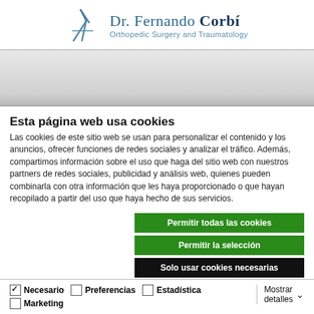[Figure (logo): Dr. Fernando Corbí logo with scissors icon and subtitle 'Orthopedic Surgery and Traumatology']
[Figure (screenshot): Gray navigation/banner area of the website]
Esta página web usa cookies
Las cookies de este sitio web se usan para personalizar el contenido y los anuncios, ofrecer funciones de redes sociales y analizar el tráfico. Además, compartimos información sobre el uso que haga del sitio web con nuestros partners de redes sociales, publicidad y análisis web, quienes pueden combinarla con otra información que les haya proporcionado o que hayan recopilado a partir del uso que haya hecho de sus servicios.
Permitir todas las cookies
Permitir la selección
Solo usar cookies necesarias
Necesario  Preferencias  Estadística  Marketing  Mostrar detalles